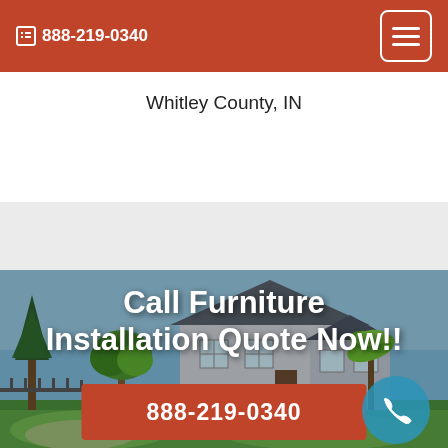888-219-0340
Whitley County, IN
[Figure (photo): Exterior photo of a suburban house with green lawn, trees, and landscaping used as hero background image]
Call Furniture Installation Quote Now!!
888-219-0340